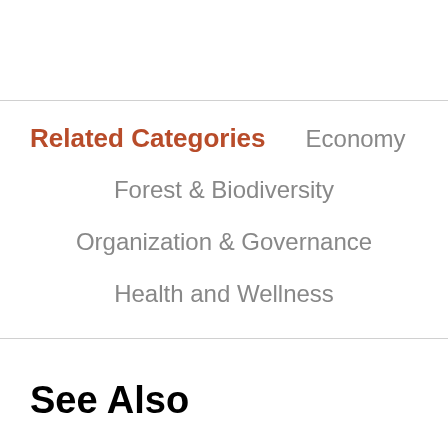Related Categories
Economy
Forest & Biodiversity
Organization & Governance
Health and Wellness
See Also